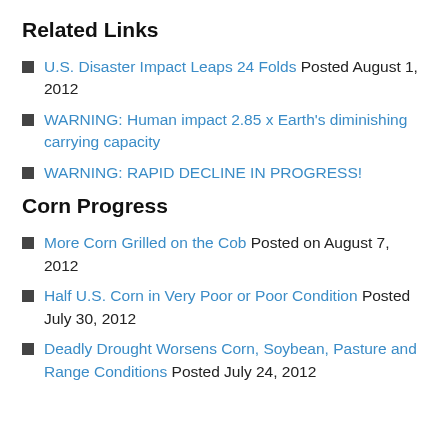Related Links
U.S. Disaster Impact Leaps 24 Folds Posted August 1, 2012
WARNING: Human impact 2.85 x Earth's diminishing carrying capacity
WARNING: RAPID DECLINE IN PROGRESS!
Corn Progress
More Corn Grilled on the Cob Posted on August 7, 2012
Half U.S. Corn in Very Poor or Poor Condition Posted July 30, 2012
Deadly Drought Worsens Corn, Soybean, Pasture and Range Conditions Posted July 24, 2012